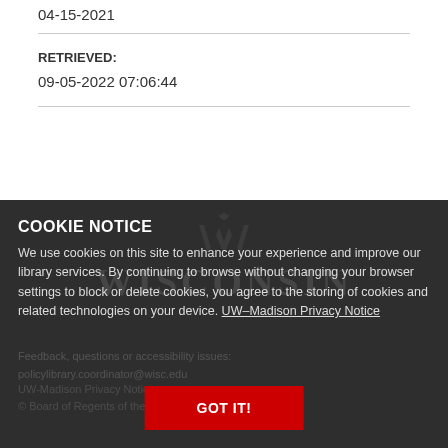04-15-2021
RETRIEVED:
09-05-2022 07:06:44
COOKIE NOTICE
We use cookies on this site to enhance your experience and improve our library services. By continuing to browse without changing your browser settings to block or delete cookies, you agree to the storing of cookies and related technologies on your device. UW–Madison Privacy Notice
GOT IT!